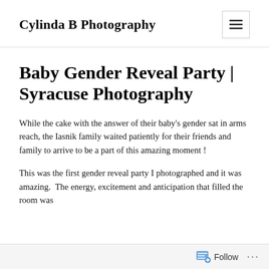Cylinda B Photography
Baby Gender Reveal Party | Syracuse Photography
While the cake with the answer of their baby's gender sat in arms reach, the Iasnik family waited patiently for their friends and family to arrive to be a part of this amazing moment !
This was the first gender reveal party I photographed and it was amazing.  The energy, excitement and anticipation that filled the room was
Follow